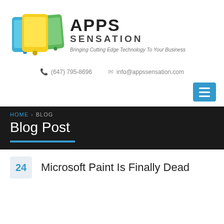[Figure (logo): Apps Sensation logo with colorful tablet/phone icons (blue, yellow, green) and bold APPS SENSATION text with tagline 'Bringing Cutting Edge Technology To Your Business']
(647) 795-8696   info@appssensation.com
HOME > BLOG
Blog Post
24   Microsoft Paint Is Finally Dead